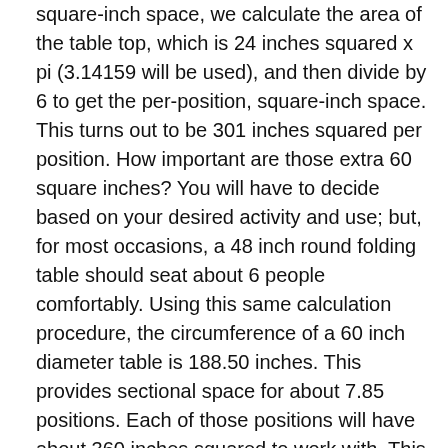square-inch space, we calculate the area of the table top, which is 24 inches squared x pi (3.14159 will be used), and then divide by 6 to get the per-position, square-inch space. This turns out to be 301 inches squared per position. How important are those extra 60 square inches? You will have to decide based on your desired activity and use; but, for most occasions, a 48 inch round folding table should seat about 6 people comfortably. Using this same calculation procedure, the circumference of a 60 inch diameter table is 188.50 inches. This provides sectional space for about 7.85 positions. Each of those positions will have about 360 inches squared to work with. This total brings us back to our familiar total from the rectangular table example above. For most situations, a 60 inch diameter table seats 8 adults comfortably. Finally, we come to the 72 inch diameter round table. The circumference for this size of table is 226.19 inches, which creates about 9.42 positions. This number seems to tend toward losing a